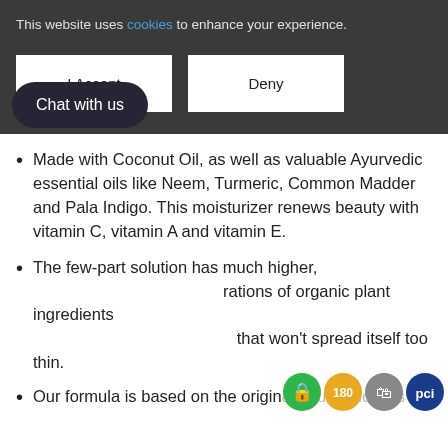This website uses cookies to enhance your experience.
I Accept
Deny
Made with Coconut Oil, as well as valuable Ayurvedic essential oils like Neem, Turmeric, Common Madder and Pala Indigo. This moisturizer renews beauty with vitamin C, vitamin A and vitamin E.
The few-part solution has much higher, concentrations of organic plant ingredients that won't spread itself too thin.
Our formula is based on the original Ayurvedic tints
Chat with us